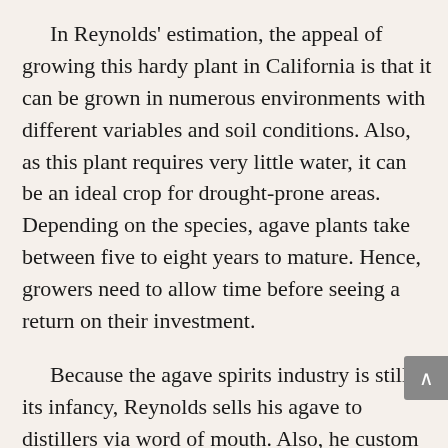In Reynolds' estimation, the appeal of growing this hardy plant in California is that it can be grown in numerous environments with different variables and soil conditions. Also, as this plant requires very little water, it can be an ideal crop for drought-prone areas. Depending on the species, agave plants take between five to eight years to mature. Hence, growers need to allow time before seeing a return on their investment.
Because the agave spirits industry is still in its infancy, Reynolds sells his agave to distillers via word of mouth. Also, he custom cooks his agave in a traditional stone pit for clients upon request.
Reynolds' clients include Karl Anderson and Jason Senior, co-founders of Shelter Distilling in Mammoth Lakes, California. Anderson became interested in agave spirits after one of his investors, coming from a long line of…